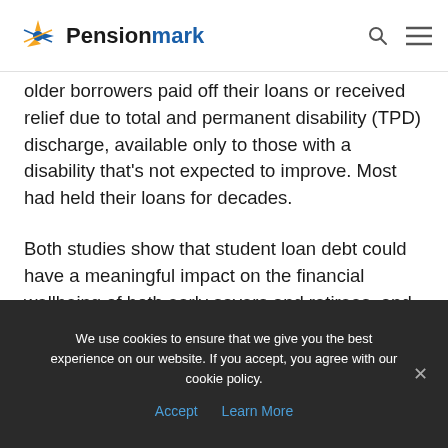Pensionmark
older borrowers paid off their loans or received relief due to total and permanent disability (TPD) discharge, available only to those with a disability that's not expected to improve. Most had held their loans for decades.
Both studies show that student loan debt could have a meaningful impact on the financial wellbeing of both early savers and retirees, and it's important to monitor the effects, regardless of age or stage of life.
We use cookies to ensure that we give you the best experience on our website. If you accept, you agree with our cookie policy. Accept   Learn More